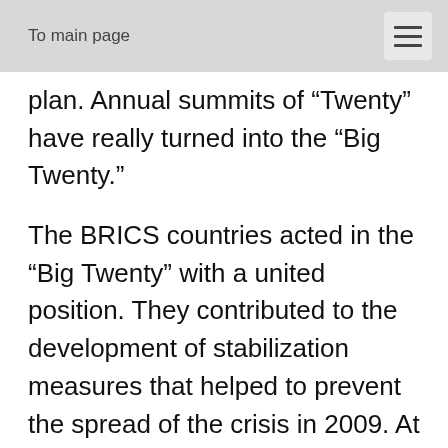To main page
plan. Annual summits of “Twenty” have really turned into the “Big Twenty.”
The BRICS countries acted in the “Big Twenty” with a united position. They contributed to the development of stabilization measures that helped to prevent the spread of the crisis in 2009. At the initiative of the BRICS at the next summit in 2010, was made the decision on the reform of the IMF towards greater consideration of the developing countries interests. This agreement formed the basis